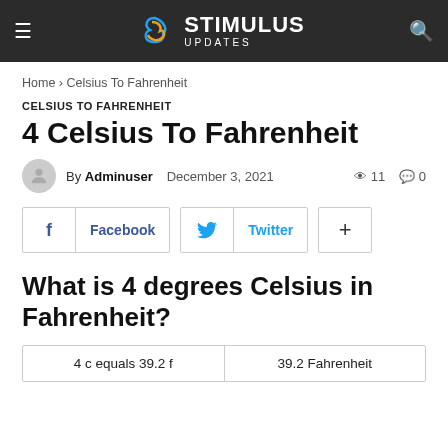STIMULUS UPDATES
Home › Celsius To Fahrenheit
CELSIUS TO FAHRENHEIT
4 Celsius To Fahrenheit
By Adminuser  December 3, 2021  👁 11  💬 0
[Figure (infographic): Social share buttons: Facebook, Twitter, and a plus button]
What is 4 degrees Celsius in Fahrenheit?
| 4 c equals 39.2 f | 39.2 Fahrenheit |
| --- | --- |